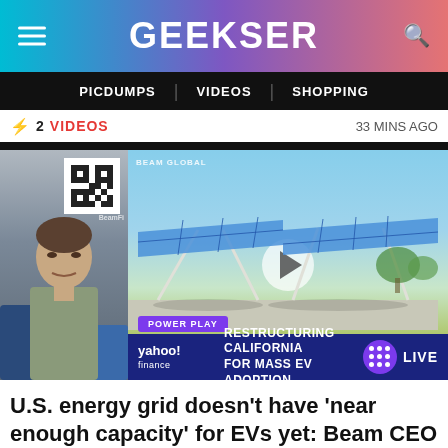GEEKSER
PICDUMPS | VIDEOS | SHOPPING
⚡ 2  VIDEOS   33 MINS AGO
[Figure (screenshot): Video thumbnail showing a man being interviewed on the left and a solar carport charging station on the right with a play button overlay, BEAM GLOBAL label, POWER PLAY badge, Yahoo Finance lower-third banner reading RESTRUCTURING CALIFORNIA FOR MASS EV ADOPTION with LIVE indicator]
U.S. energy grid doesn't have 'near enough capacity' for EVs yet: Beam CEO